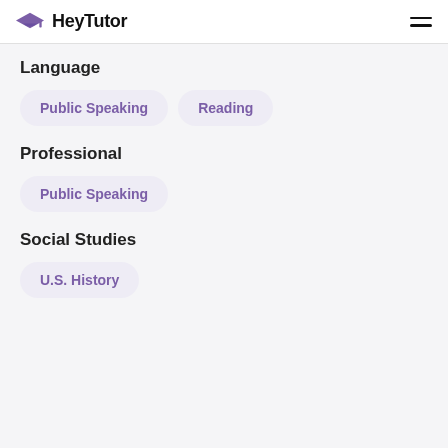HeyTutor
Language
Public Speaking
Reading
Professional
Public Speaking
Social Studies
U.S. History